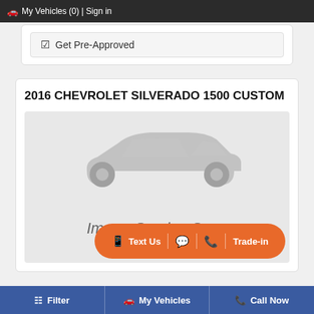My Vehicles (0) | Sign in
✔ Get Pre-Approved
2016 CHEVROLET SILVERADO 1500 CUSTOM
[Figure (illustration): Placeholder car silhouette image with text 'Image Coming Soon']
Text Us | [chat icon] | [phone icon] | Trade-in
Filter | My Vehicles | Call Now